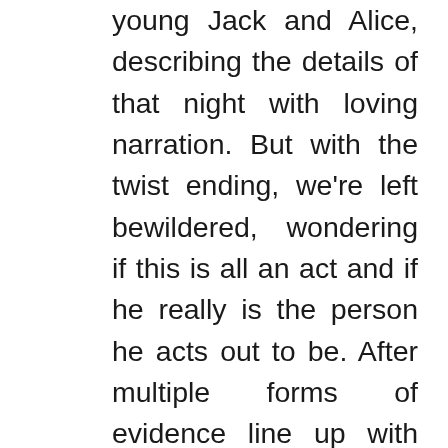young Jack and Alice, describing the details of that night with loving narration. But with the twist ending, we're left bewildered, wondering if this is all an act and if he really is the person he acts out to be. After multiple forms of evidence line up with Quinn's recounting are presented from the interviewers attempting to convict him, what comes next is something nobody could predict. A bone chilling sinister laugh, challenging Joaquin Phoenix's 'Joker' is heard echoing through the device's speakers and leaves you holding your breath in anticipation. This piece is confusing at the beginning and listeners are unsure where the story is heading, but ends up being very well thought out and keeps the audience engaged